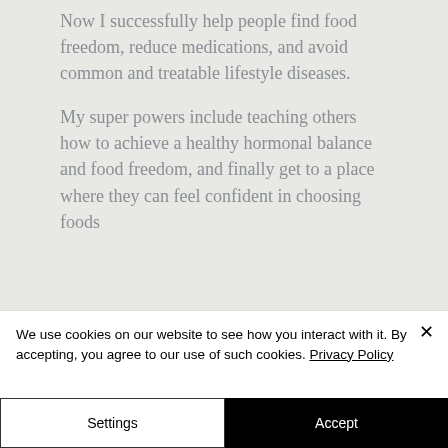Now I successfully help people find food freedom, reduce medications, and avoid common and treatable lifestyle diseases.

My super powers include teaching others how to achieve a healthy hormonal balance and food freedom, and finally get to a place where they can feel confident in choosing foods
We use cookies on our website to see how you interact with it. By accepting, you agree to our use of such cookies. Privacy Policy
Settings
Accept